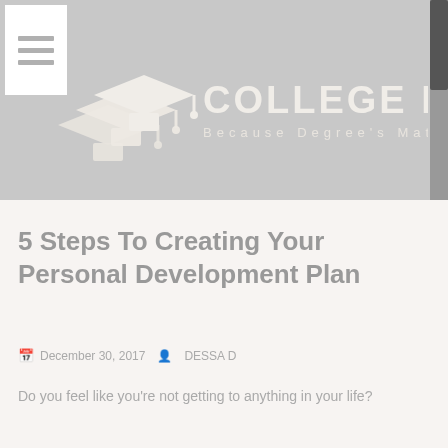[Figure (logo): College People website header with graduation cap logo icons and text 'COLLEGE PEOPLE' with tagline 'Because Degree's Matter!']
5 Steps To Creating Your Personal Development Plan
December 30, 2017  DESSA D
Do you feel like you're not getting to anything in your life?